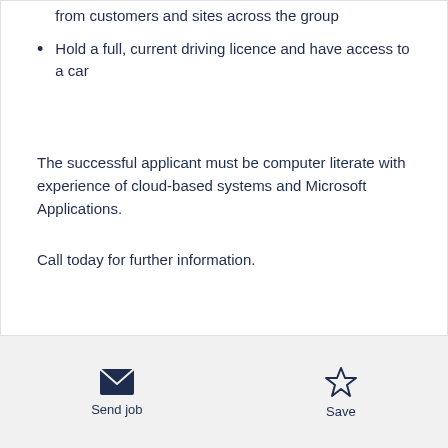from customers and sites across the group
Hold a full, current driving licence and have access to a car
The successful applicant must be computer literate with experience of cloud-based systems and Microsoft Applications.
Call today for further information.
Send job   Save